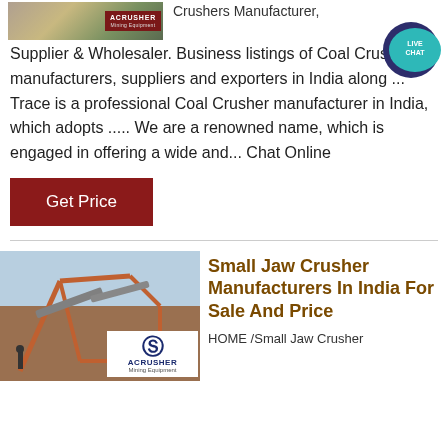[Figure (photo): ACRUSHER Mining Equipment logo/image at top left]
Crushers Manufacturer, Supplier & Wholesaler. Business listings of Coal Crusher manufacturers, suppliers and exporters in India along ... Trace is a professional Coal Crusher manufacturer in India, which adopts ..... We are a renowned name, which is engaged in offering a wide and... Chat Online
[Figure (other): LIVE CHAT speech bubble icon in teal/dark blue]
Get Price
[Figure (photo): Small Jaw Crusher industrial machinery photo with ACRUSHER Mining Equipment logo overlay]
Small Jaw Crusher Manufacturers In India For Sale And Price
HOME /Small Jaw Crusher